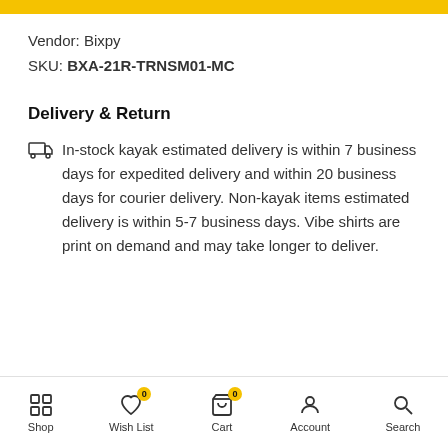Vendor: Bixpy
SKU: BXA-21R-TRNSM01-MC
Delivery & Return
In-stock kayak estimated delivery is within 7 business days for expedited delivery and within 20 business days for courier delivery. Non-kayak items estimated delivery is within 5-7 business days. Vibe shirts are print on demand and may take longer to deliver.
Shop | Wish List 0 | Cart 0 | Account | Search